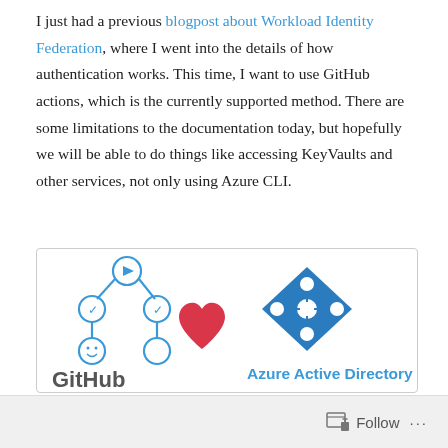I just had a previous blogpost about Workload Identity Federation, where I went into the details of how authentication works. This time, I want to use GitHub actions, which is the currently supported method. There are some limitations to the documentation today, but hopefully we will be able to do things like accessing KeyVaults and other services, not only using Azure CLI.
[Figure (illustration): GitHub Actions loves Azure Active Directory — shows the GitHub Actions logo (gear/workflow icon) on the left, a red heart in the center, and the Azure Active Directory diamond logo on the right with 'Azure Active Directory' text in blue.]
Follow ...